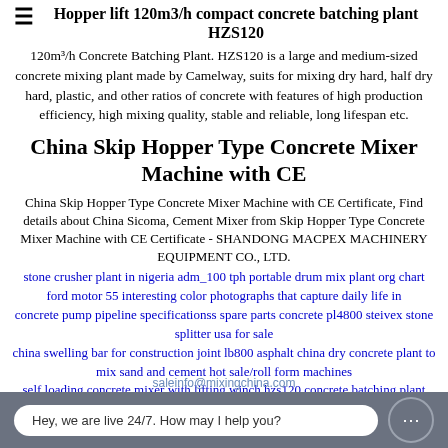Hopper lift 120m3/h compact concrete batching plant HZS120
120m³/h Concrete Batching Plant. HZS120 is a large and medium-sized concrete mixing plant made by Camelway, suits for mixing dry hard, half dry hard, plastic, and other ratios of concrete with features of high production efficiency, high mixing quality, stable and reliable, long lifespan etc.
China Skip Hopper Type Concrete Mixer Machine with CE
China Skip Hopper Type Concrete Mixer Machine with CE Certificate, Find details about China Sicoma, Cement Mixer from Skip Hopper Type Concrete Mixer Machine with CE Certificate - SHANDONG MACPEX MACHINERY EQUIPMENT CO., LTD.
stone crusher plant in nigeria adm_100 tph portable drum mix plant org chart ford motor 55 interesting color photographs that capture daily life in
concrete pump pipeline specificationss spare parts concrete pl4800 steivex stone splitter usa for sale
china swelling bar for construction joint lb800 asphalt china dry concrete plant to mix sand and cement hot sale/roll form machines
self loading concrete mixer with lifting winch hzs120 concrete batching plant china supplier
bakery machine manufacturers at best price in india sadlawer kunomu portable equipment for optical sorter green eye recyc'
saleinfo@mixingchina.com